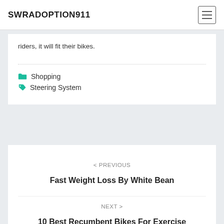SWRADOPTION911
riders, it will fit their bikes.
Shopping
Steering System
< PREVIOUS
Fast Weight Loss By White Bean
NEXT >
10 Best Recumbent Bikes For Exercise